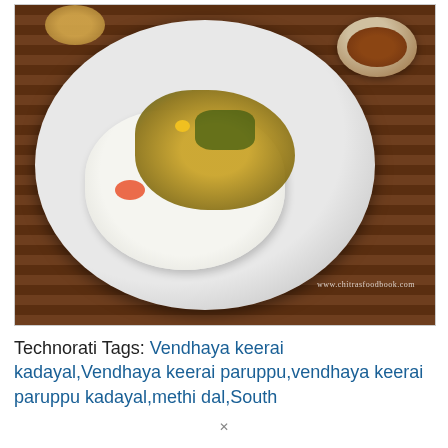[Figure (photo): Overhead view of a South Indian meal on a steel thali plate placed on a dark wooden slatted surface. The plate contains white rice topped with vendhaya keerai (methi/fenugreek leaves) dal curry in yellow-green color with tomato pieces and dark spices. A small steel bowl of brown dal/gravy is visible in the upper right. A partial yellow bowl is visible top-left. Watermark reads 'www.chitrasfoodbook.com'.]
Technorati Tags: Vendhaya keerai kadayal,Vendhaya keerai paruppu,vendhaya keerai paruppu kadayal,methi dal,South